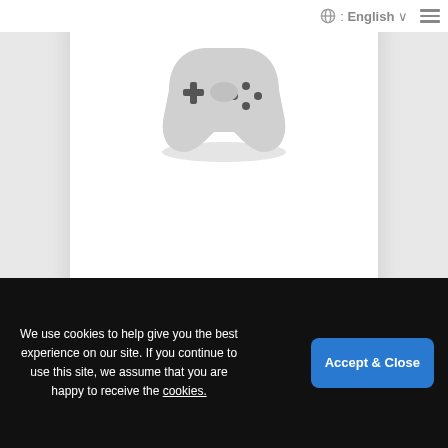🌐 : English ≡
[Figure (illustration): A white rounded card/phone UI element containing a game controller icon (white controller on gray background with a plus button and four dots on right side), centered in the upper portion of the page.]
We use cookies to help give you the best experience on our site. If you continue to use this site, we assume that you are happy to receive the cookies.
Accept & Close